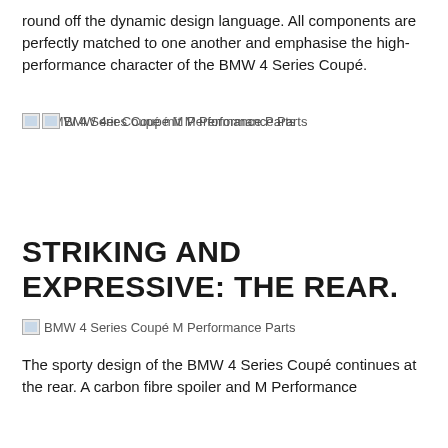round off the dynamic design language. All components are perfectly matched to one another and emphasise the high-performance character of the BMW 4 Series Coupé.
[Figure (photo): BMW 4 Series Coupé M Performance Parts — two overlapping broken image placeholders showing 'BMW 4 Series Coupé M Performance Parts' and 'BMW 4er Coupé mit M Performance Parts']
STRIKING AND EXPRESSIVE: THE REAR.
[Figure (photo): BMW 4 Series Coupé M Performance Parts — broken image placeholder]
The sporty design of the BMW 4 Series Coupé continues at the rear. A carbon fibre spoiler and M Performance tail lights further the dynamic character of